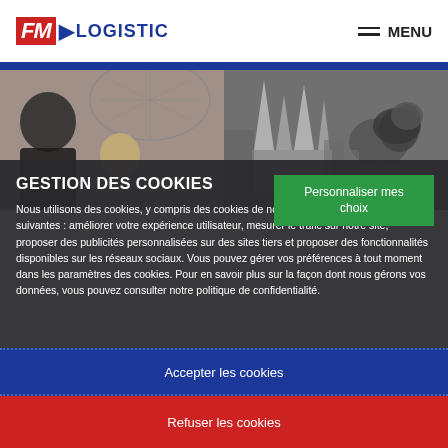[Figure (logo): FM Logistic logo with red FM box and blue arrow and LOGISTIC text]
MENU
[Figure (photo): Hero banner with two black-and-white photos: left shows person and glass dome interior, right shows cathedral and city architecture with lion statue]
GESTION DES COOKIES
Personnaliser mes choix
Nous utilisons des cookies, y compris des cookies de nos partenaires pour les finalités suivantes : améliorer votre expérience utilisateur, mesurer le trafic sur notre site, proposer des publicités personnalisées sur des sites tiers et proposer des fonctionnalités disponibles sur les réseaux sociaux. Vous pouvez gérer vos préférences à tout moment dans les paramètres des cookies. Pour en savoir plus sur la façon dont nous gérons vos données, vous pouvez consulter notre politique de confidentialité.
Accepter les cookies
Refuser les cookies